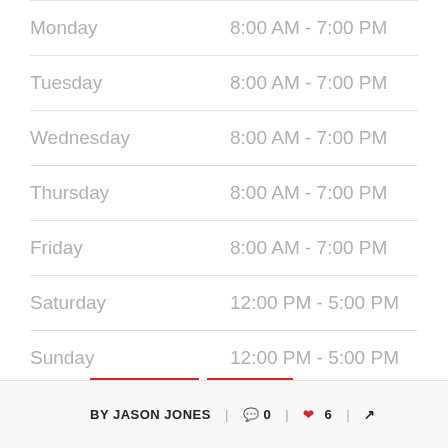| Day | Hours |
| --- | --- |
| Monday | 8:00 AM - 7:00 PM |
| Tuesday | 8:00 AM - 7:00 PM |
| Wednesday | 8:00 AM - 7:00 PM |
| Thursday | 8:00 AM - 7:00 PM |
| Friday | 8:00 AM - 7:00 PM |
| Saturday | 12:00 PM - 5:00 PM |
| Sunday | 12:00 PM - 5:00 PM |
ROOF REPAIR
ROOFERS
VINYL SIDING COMPANY
BY JASON JONES | 0 | 6 |